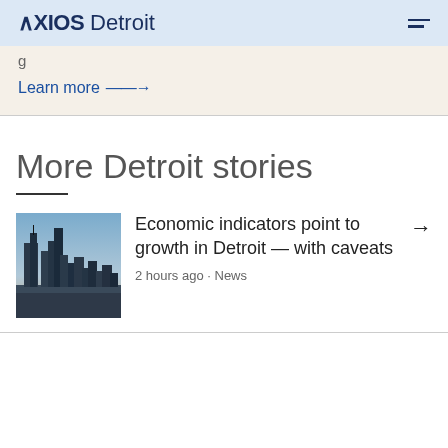AXIOS Detroit
g
Learn more →
More Detroit stories
[Figure (photo): Aerial or elevated photo of Detroit city skyline at dusk/dawn showing skyscrapers and urban landscape]
Economic indicators point to growth in Detroit — with caveats
2 hours ago · News